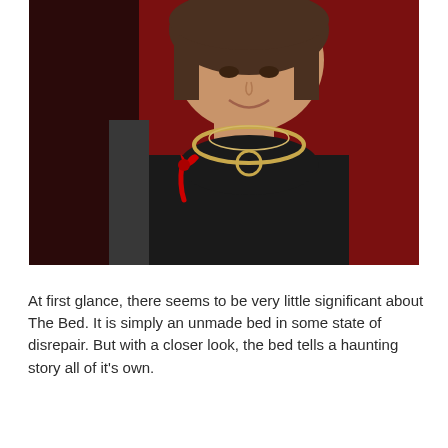[Figure (photo): A woman with short dark hair wearing a black top, gold chain necklace, and a red ribbon pin. Background is dark red.]
At first glance, there seems to be very little significant about The Bed. It is simply an unmade bed in some state of disrepair. But with a closer look, the bed tells a haunting story all of it's own.